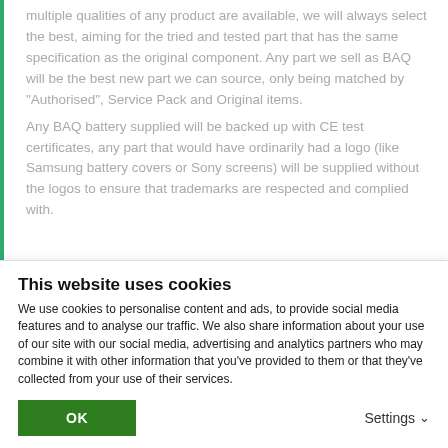multiple qualities of any product are available, we will always select the best, aiming for the tried and tested part that has the same specification as the original component. Any part we sell as BAQ will be the best new part we can source, only being matched by “Authorised”, Service Pack and Original items.

Any BAQ battery supplied will be backed up with CE test certificates, any part that would have ordinarily had a logo (like Samsung battery covers or Sony screens) will be supplied without the logos to ensure that trademarks are respected and complied with.
This website uses cookies
We use cookies to personalise content and ads, to provide social media features and to analyse our traffic. We also share information about your use of our site with our social media, advertising and analytics partners who may combine it with other information that you’ve provided to them or that they’ve collected from your use of their services.